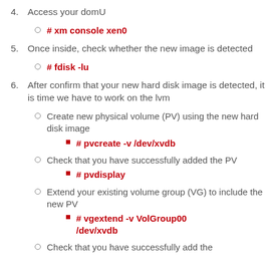4. Access your domU
# xm console xen0
5. Once inside, check whether the new image is detected
# fdisk -lu
6. After confirm that your new hard disk image is detected, it is time we have to work on the lvm
Create new physical volume (PV) using the new hard disk image
# pvcreate -v /dev/xvdb
Check that you have successfully added the PV
# pvdisplay
Extend your existing volume group (VG) to include the new PV
# vgextend -v VolGroup00 /dev/xvdb
Check that you have successfully add the